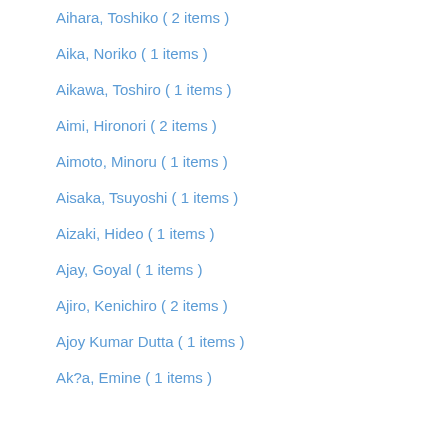Aihara, Toshiko ( 2 items )
Aika, Noriko ( 1 items )
Aikawa, Toshiro ( 1 items )
Aimi, Hironori ( 2 items )
Aimoto, Minoru ( 1 items )
Aisaka, Tsuyoshi ( 1 items )
Aizaki, Hideo ( 1 items )
Ajay, Goyal ( 1 items )
Ajiro, Kenichiro ( 2 items )
Ajoy Kumar Dutta ( 1 items )
Ak?a, Emine ( 1 items )